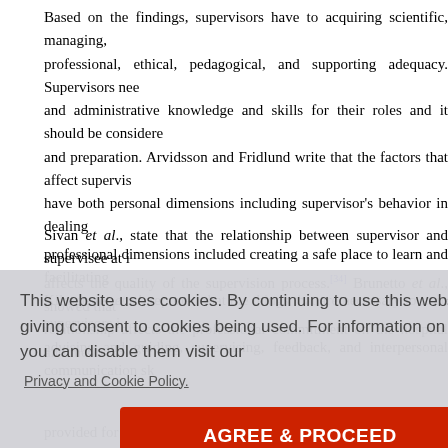Based on the findings, supervisors have to acquiring scientific, managing, professional, ethical, pedagogical, and supporting adequacy. Supervisors need and administrative knowledge and skills for their roles and it should be considered and preparation. Arvidsson and Fridlund write that the factors that affect supervision have both personal dimensions including supervisor's behavior in dealing professional dimensions included creating a safe place to learn and facilitating Kilmenster et al. reported that the things that are necessary to train supervisors in advising and guiding, supervising, feedback, and interpersonal communication sk
Sivan et al., state that the relationship between supervisor and supervisee at in affects the quality of the supervision process.[34] Brunetto et al., showed that relationship affects the professional commitment on the hospital and the int
[Figure (screenshot): Cookie consent overlay dialog with text: 'This website uses cookies. By continuing to use this website you are giving consent to cookies being used. For information on cookies and how you can disable them visit our' followed by a 'Privacy and Cookie Policy.' link and an 'AGREE & PROCEED' button.]
provided for the preparation of supervisors.